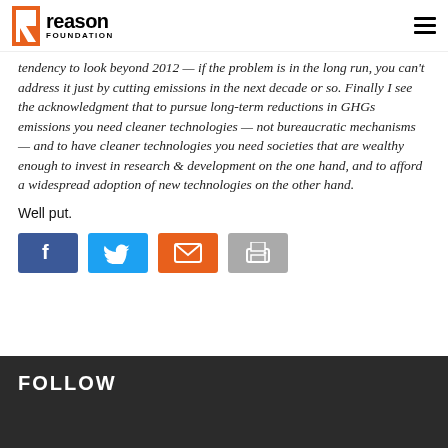Reason Foundation
tendency to look beyond 2012 — if the problem is in the long run, you can't address it just by cutting emissions in the next decade or so. Finally I see the acknowledgment that to pursue long-term reductions in GHGs emissions you need cleaner technologies — not bureaucratic mechanisms — and to have cleaner technologies you need societies that are wealthy enough to invest in research & development on the one hand, and to afford a widespread adoption of new technologies on the other hand.
Well put.
[Figure (other): Social sharing buttons: Facebook, Twitter, Email, Print]
FOLLOW